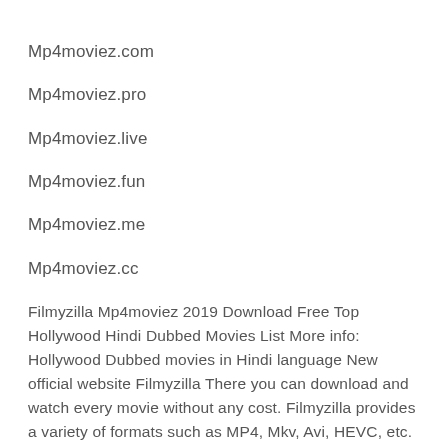Mp4moviez.com
Mp4moviez.pro
Mp4moviez.live
Mp4moviez.fun
Mp4moviez.me
Mp4moviez.cc
Filmyzilla Mp4moviez 2019 Download Free Top Hollywood Hindi Dubbed Movies List More info: Hollywood Dubbed movies in Hindi language New official website Filmyzilla There you can download and watch every movie without any cost. Filmyzilla provides a variety of formats such as MP4, Mkv, Avi, HEVC, etc. HD resolution 720p, 360p, 240p etc. HD movies with HD quality in small size. Mp4moviez 2019 Sd movies point 2019 Hollywood Hindi Dubbed Movies are also available.